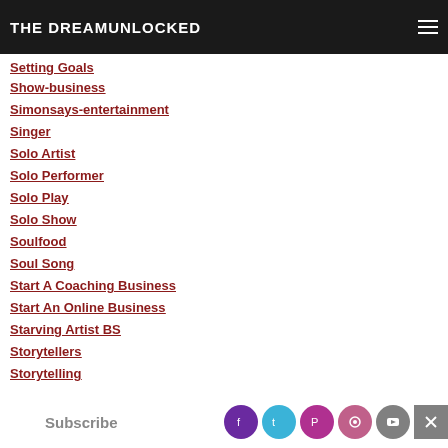THE DREAMUNLOCKED
Setting Goals
Show-business
Simonsays-entertainment
Singer
Solo Artist
Solo Performer
Solo Play
Solo Show
Soulfood
Soul Song
Start A Coaching Business
Start An Online Business
Starving Artist BS
Storytellers
Storytelling
Subscribe